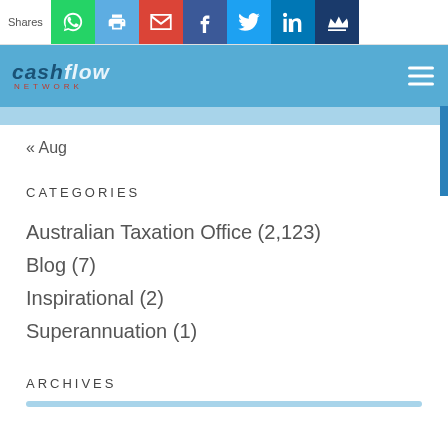Shares | WhatsApp | Print | Gmail | Facebook | Twitter | LinkedIn | King
[Figure (logo): Cashflow Network logo on blue header bar with hamburger menu icon]
« Aug
CATEGORIES
Australian Taxation Office (2,123)
Blog (7)
Inspirational (2)
Superannuation (1)
ARCHIVES